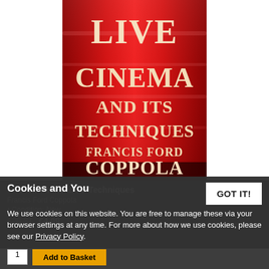[Figure (illustration): Book cover of 'Live Cinema and Its Techniques' by Francis Ford Coppola. Red background with large cream/gold serif text reading LIVE CINEMA AND ITS TECHNIQUES FRANCIS FORD COPPOLA.]
Live Cinema and Its Techniques
Francis Ford Coppola
Condition: New
£20.81  £4.99
Cookies and You
We use cookies on this website. You are free to manage these via your browser settings at any time. For more about how we use cookies, please see our Privacy Policy.